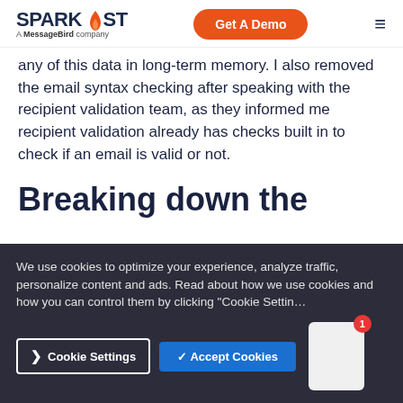SPARKPOST A MessageBird company | Get A Demo
any of this data in long-term memory. I also removed the email syntax checking after speaking with the recipient validation team, as they informed me recipient validation already has checks built in to check if an email is valid or not.
Breaking down the
We use cookies to optimize your experience, analyze traffic, personalize content and ads. Read about how we use cookies and how you can control them by clicking "Cookie Settings".
Cookie Settings | ✓ Accept Cookies